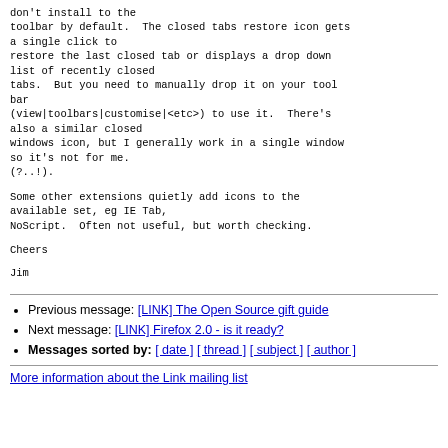don't install to the
toolbar by default.  The closed tabs restore icon gets a single click to
restore the last closed tab or displays a drop down list of recently closed
tabs.  But you need to manually drop it on your tool bar
(view|toolbars|customise|<etc>) to use it.  There's also a similar closed
windows icon, but I generally work in a single window so it's not for me.
(?..!).
Some other extensions quietly add icons to the available set, eg IE Tab,
NoScript.  Often not useful, but worth checking.
Cheers
Jim
Previous message: [LINK] The Open Source gift guide
Next message: [LINK] Firefox 2.0 - is it ready?
Messages sorted by: [ date ] [ thread ] [ subject ] [ author ]
More information about the Link mailing list